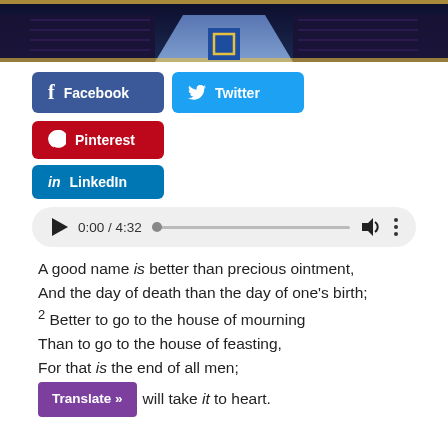[Figure (photo): Photograph of a church or chapel interior with a blue aisle runner, pews on both sides, and a central emblem/crest visible on the floor.]
[Figure (infographic): Social sharing buttons: Facebook (dark blue), Twitter (cyan), Pinterest (red), LinkedIn (blue)]
[Figure (other): Audio player showing 0:00 / 4:32 with play button, progress bar, volume icon, and more options icon]
A good name is better than precious ointment, And the day of death than the day of one's birth; 2 Better to go to the house of mourning Than to go to the house of feasting, For that is the end of all men; And the living will take it to heart.
[Figure (other): Translate button (purple) with 'Translate »' text]